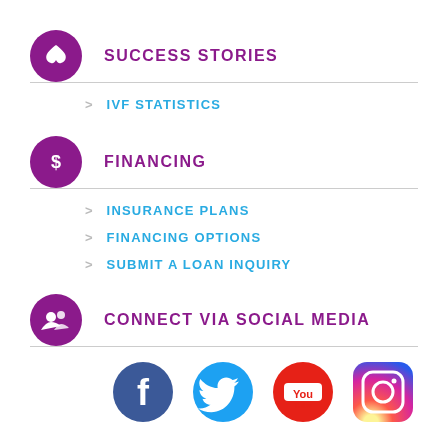SUCCESS STORIES
> IVF STATISTICS
FINANCING
> INSURANCE PLANS
> FINANCING OPTIONS
> SUBMIT A LOAN INQUIRY
CONNECT VIA SOCIAL MEDIA
[Figure (logo): Social media icons: Facebook, Twitter, YouTube, Instagram]